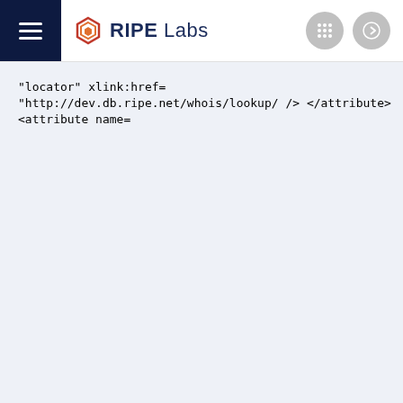RIPE Labs
"locator"


xlink:href=

"http://dev.db.ripe.net/whois/lookup/

/>

</attribute>

<attribute name=